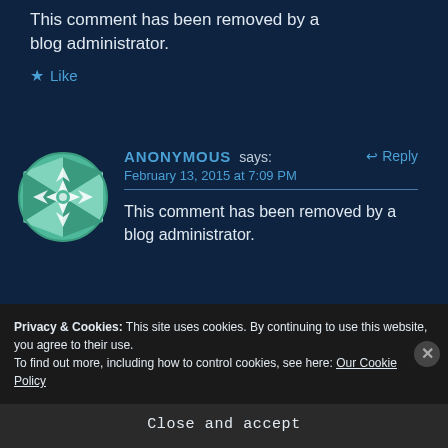This comment has been removed by a blog administrator.
★ Like
ANONYMOUS says:
February 13, 2015 at 7:09 PM
This comment has been removed by a blog administrator.
Privacy & Cookies: This site uses cookies. By continuing to use this website, you agree to their use.
To find out more, including how to control cookies, see here: Our Cookie Policy
Close and accept